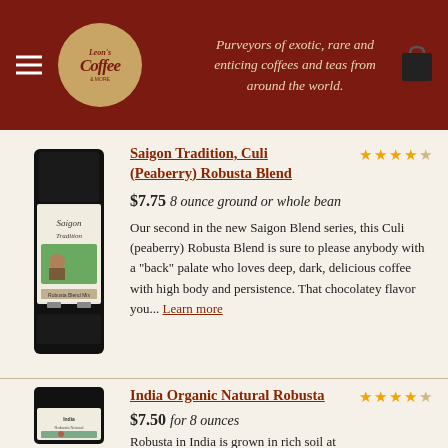Leon's Coffee — Purveyors of exotic, rare and enticing coffees and teas from around the world.
[Figure (photo): Black coffee bag with Saigon Tradition label showing a woman in a field]
Saigon Tradition, Culi (Peaberry) Robusta Blend
$7.75 8 ounce ground or whole bean
Our second in the new Saigon Blend series, this Culi (peaberry) Robusta Blend is sure to please anybody with a "back" palate who loves deep, dark, delicious coffee with high body and persistence. That chocolatey flavor you... Learn more
[Figure (photo): Black coffee bag with India Organic Natural Robusta label showing a woman]
India Organic Natural Robusta
$7.50 for 8 ounces
Robusta in India is grown in rich soil at